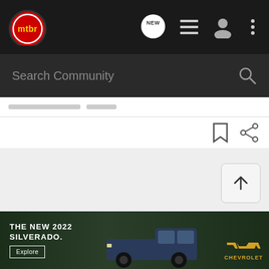mtbr
Search Community
[Figure (screenshot): MTBR mountain bike community website screenshot showing navigation bar with mtbr logo, search bar, content area, back-to-top button, and Chevrolet Silverado 2022 advertisement banner at bottom]
[Figure (photo): Chevrolet advertisement: THE NEW 2022 SILVERADO. with truck image and Chevrolet logo, Explore button]